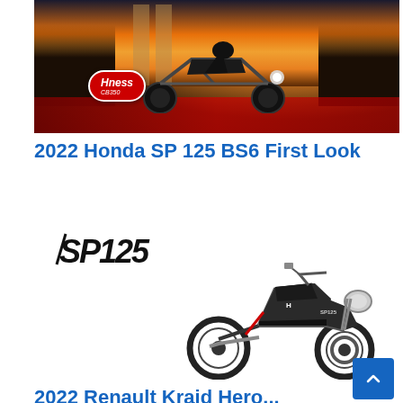[Figure (photo): Honda Hness CB350 motorcycle advertisement image showing a rider on a motorcycle with crowd lining a red carpet, dramatic sunset sky background, Hness CB350 badge visible]
2022 Honda SP 125 BS6 First Look
[Figure (photo): SP125 logo in stylized script on left, and a dark gray Honda SP 125 BS6 motorcycle on right side against white background]
2022 Renault Kraid Hero...